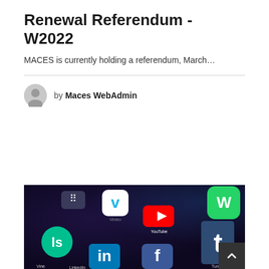Renewal Referendum - W2022
MACES is currently holding a referendum, March…
by Maces WebAdmin
[Figure (photo): Close-up photo of a smartphone screen showing various social media app icons including Vimeo, YouTube, WhatsApp, Tumblr, LinkedIn, Facebook, and others on a dark background.]